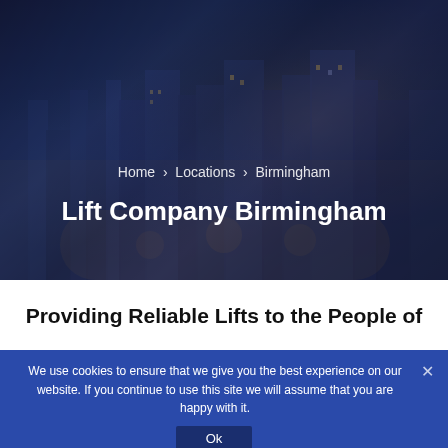[Figure (photo): Aerial night view of Birmingham city centre with illuminated buildings, shopping centres and urban infrastructure]
Home  >  Locations  >  Birmingham
Lift Company Birmingham
Providing Reliable Lifts to the People of
We use cookies to ensure that we give you the best experience on our website. If you continue to use this site we will assume that you are happy with it.
Ok